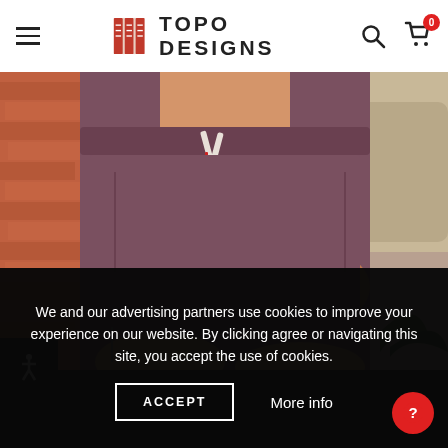Topo Designs - Navigation bar with hamburger menu, logo, search and cart icons
[Figure (photo): Person wearing dark brown/mauve athletic shorts with white drawstring and red accent, hands in pockets, standing outdoors near a brick wall and rocky background]
We and our advertising partners use cookies to improve your experience on our website. By clicking agree or navigating this site, you accept the use of cookies.
ACCEPT
More info